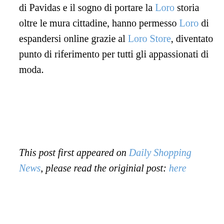di Pavidas e il sogno di portare la Loro storia oltre le mura cittadine, hanno permesso Loro di espandersi online grazie al Loro Store, diventato punto di riferimento per tutti gli appassionati di moda.
This post first appeared on Daily Shopping News, please read the originial post: here